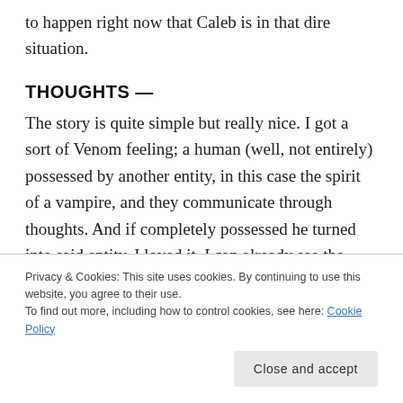to happen right now that Caleb is in that dire situation.
THOUGHTS —
The story is quite simple but really nice. I got a sort of Venom feeling; a human (well, not entirely) possessed by another entity, in this case the spirit of a vampire, and they communicate through thoughts. And if completely possessed he turned into said entity. I loved it. I can already see the polyamorous
Privacy & Cookies: This site uses cookies. By continuing to use this website, you agree to their use.
To find out more, including how to control cookies, see here: Cookie Policy